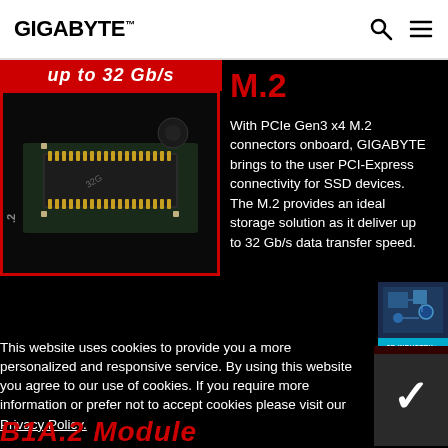GIGABYTE
up to 32 Gb/s
[Figure (photo): Close-up photo of an M.2 PCIe Gen3 x4 connector on a motherboard, showing gold pins and PCB markings]
M.2
With PCIe Gen3 x4 M.2 connectors onboard, GIGABYTE brings to the user PCI-Express connectivity for SSD devices. The M.2 provides an ideal storage solution as it deliver up to 32 Gb/s data transfer speed.
[Figure (illustration): 3D INDUSTRY promotional widget with circuit board illustration and cyan label]
This website uses cookies to provide you a more personalized and responsive service. By using this website you agree to our use of cookies. If you require more information or prefer not to accept cookies please visit our Privacy Policy.
B1A.2 Module